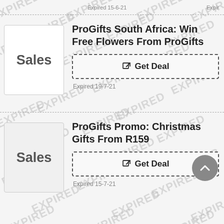Expired 15-6-21
ProGifts South Africa: Win Free Flowers From ProGifts
Get Deal
Expired 19-7-21
ProGifts Promo: Christmas Gifts From R159
Get Deal
Expired 15-7-21